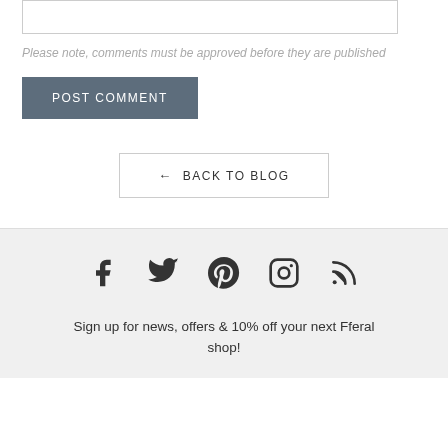Please note, comments must be approved before they are published
POST COMMENT
← BACK TO BLOG
[Figure (illustration): Social media icons: Facebook, Twitter, Pinterest, Instagram, RSS feed]
Sign up for news, offers & 10% off your next Fferal shop!